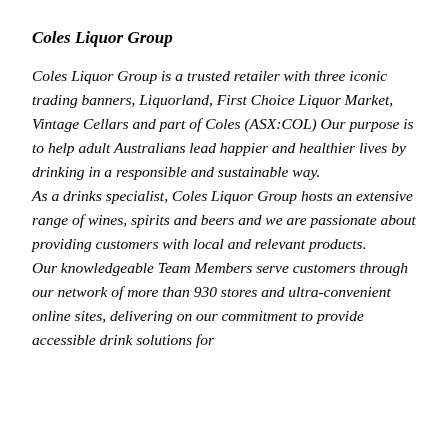Coles Liquor Group
Coles Liquor Group is a trusted retailer with three iconic trading banners, Liquorland, First Choice Liquor Market, Vintage Cellars and part of Coles (ASX:COL) Our purpose is to help adult Australians lead happier and healthier lives by drinking in a responsible and sustainable way.
As a drinks specialist, Coles Liquor Group hosts an extensive range of wines, spirits and beers and we are passionate about providing customers with local and relevant products.
Our knowledgeable Team Members serve customers through our network of more than 930 stores and ultra-convenient online sites, delivering on our commitment to provide accessible drink solutions for